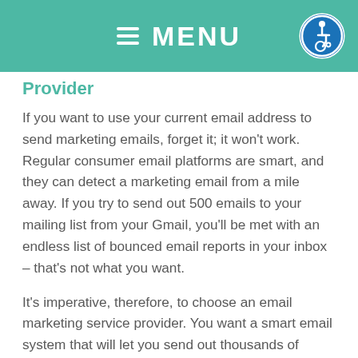≡ MENU
Provider
If you want to use your current email address to send marketing emails, forget it; it won't work. Regular consumer email platforms are smart, and they can detect a marketing email from a mile away. If you try to send out 500 emails to your mailing list from your Gmail, you'll be met with an endless list of bounced email reports in your inbox – that's not what you want.
It's imperative, therefore, to choose an email marketing service provider. You want a smart email system that will let you send out thousands of emails a month without 90 percent of them bouncing back.